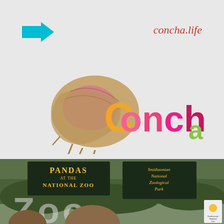[Figure (other): Cyan/teal right-pointing arrow icon]
concha.life
[Figure (logo): Concha logo with conch shell image and colorful text spelling 'Concha' with gradient colors (orange, pink, magenta) and small 'a' in green/yellow at end]
[Figure (photo): Photograph at the Smithsonian National Zoological Park entrance showing signs reading 'PANDAS AT THE NATIONAL ZOO' and 'Smithsonian National Zoological Park', with large 'Zoo' lettering and people in foreground]